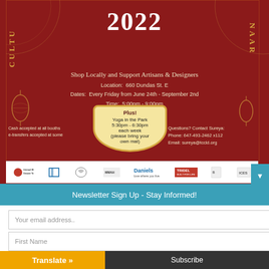[Figure (infographic): Cultural Bazaar 2022 event poster on dark red background. Text reads: 'CULTU... NAAR 2022', 'Shop Locally and Support Artisans & Designers', 'Location: 660 Dundas St. E', 'Dates: Every Friday from June 24th - September 2nd', 'Time: 5:00pm - 9:00pm', 'Admission: Free!'. Inset bubble: 'Plus! Yoga in the Park 5:30pm - 6:30pm each week (please bring your own mat)'. Contact info: 'Questions? Contact Sureya: Phone: 647-493-2462 x112 Email: sureya@tccld.org'. Cash accepted note. Sponsor logos at bottom including Daniels and TRIDEL.]
Newsletter Sign Up - Stay Informed!
Your email address..
First Name
Last name
Translate »
Subscribe